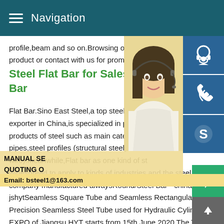Navigation
profile,beam and so on.Browsing our catal product or contact with us for prompting yo
Steel Flat Bar for Sales from I Bar
Flat Bar.Sino East Steel,a top steel produc exporter in China,is specialized in producin products of steel such as main categories pipes,steel profiles (structural steel) and st wire).meanwhile,Flat bar as one kind of st widespread to apply to kinds of industries and the steel flat bar the company manufactured alwaysRound/Steel Bar - china-jshytSeamless Square Tube and Seamless Rectangular Tube Precision Seamless Steel Tube used for Hydraulic Cylinder O EXPO of Jiangsu HYT starts from 15th June,2020 The Trend o Steel Price from June to July 2020 Steel Pipes We Exported
[Figure (photo): Customer service representative woman with headset, yellow/warm background]
[Figure (infographic): Three blue icon buttons: headset/customer service icon, phone/call icon, Skype icon]
MANUAL SE QUOTING O
Email: bsteel1@163.com
[Figure (infographic): Green chat bubble button and grey scroll-to-top arrow button]